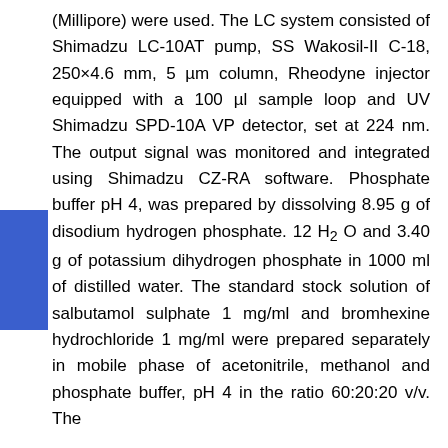(Millipore) were used. The LC system consisted of Shimadzu LC-10AT pump, SS Wakosil-II C-18, 250×4.6 mm, 5 µm column, Rheodyne injector equipped with a 100 µl sample loop and UV Shimadzu SPD-10A VP detector, set at 224 nm. The output signal was monitored and integrated using Shimadzu CZ-RA software. Phosphate buffer pH 4, was prepared by dissolving 8.95 g of disodium hydrogen phosphate. 12 H2 O and 3.40 g of potassium dihydrogen phosphate in 1000 ml of distilled water. The standard stock solution of salbutamol sulphate 1 mg/ml and bromhexine hydrochloride 1 mg/ml were prepared separately in mobile phase of acetonitrile, methanol and phosphate buffer, pH 4 in the ratio 60:20:20 v/v. The